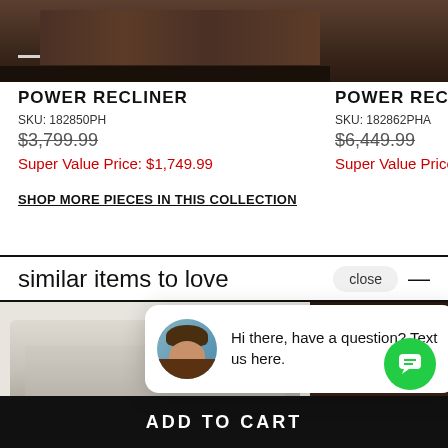[Figure (photo): Dark brown leather power recliner sofa, top portion visible]
POWER RECLINER
SKU: 182850PH
$3,799.99
Super Value Price: $1,749.99
POWER RECLINING
SKU: 182862PHA
$6,449.99
Super Value Price: $
SHOP MORE PIECES IN THIS COLLECTION
similar items to love
[Figure (photo): Light beige/cream leather reclining sofa shown from above]
[Figure (photo): Dark brown leather reclining sofa, partial view on right]
[Figure (screenshot): Chat popup with avatar of woman with brown hair and text: Hi there, have a question? Text us here.]
close
Hi there, have a question? Text us here.
ADD TO CART